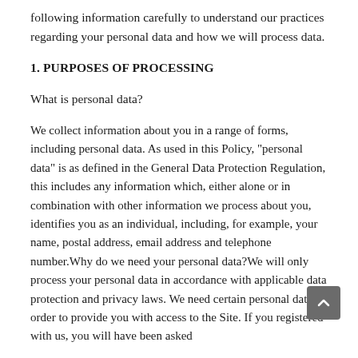following information carefully to understand our practices regarding your personal data and how we will process data.
1. PURPOSES OF PROCESSING
What is personal data?
We collect information about you in a range of forms, including personal data. As used in this Policy, “personal data” is as defined in the General Data Protection Regulation, this includes any information which, either alone or in combination with other information we process about you, identifies you as an individual, including, for example, your name, postal address, email address and telephone number.Why do we need your personal data?We will only process your personal data in accordance with applicable data protection and privacy laws. We need certain personal data in order to provide you with access to the Site. If you registered with us, you will have been asked